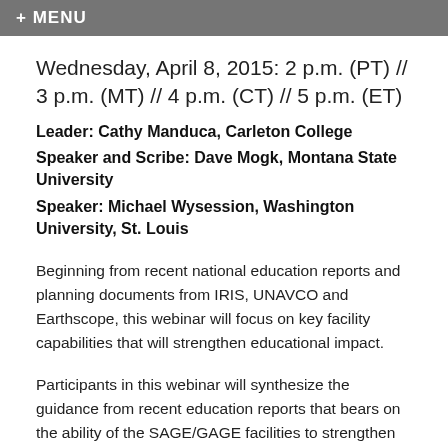+ MENU
Wednesday, April 8, 2015: 2 p.m. (PT) // 3 p.m. (MT) // 4 p.m. (CT) // 5 p.m. (ET)
Leader: Cathy Manduca, Carleton College
Speaker and Scribe: Dave Mogk, Montana State University
Speaker: Michael Wysession, Washington University, St. Louis
Beginning from recent national education reports and planning documents from IRIS, UNAVCO and Earthscope, this webinar will focus on key facility capabilities that will strengthen educational impact.
Participants in this webinar will synthesize the guidance from recent education reports that bears on the ability of the SAGE/GAGE facilities to strengthen broader educational impacts. We will discuss key ideas